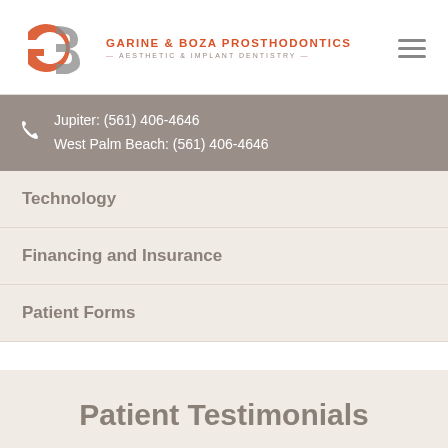[Figure (logo): Garine & Boza Prosthodontics logo with GB monogram in orange/grey and company name]
Jupiter: (561) 406-4646
West Palm Beach: (561) 406-4646
Technology
Financing and Insurance
Patient Forms
Patient Testimonials